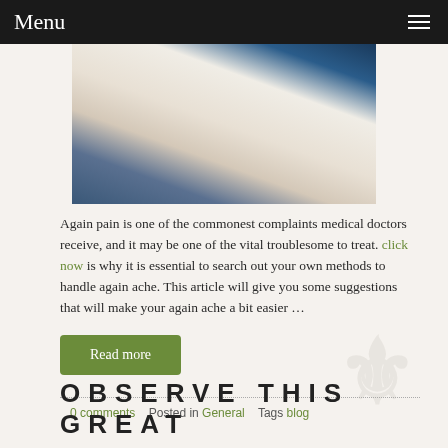Menu
[Figure (photo): Close-up of a person in a white coat holding a dark tablet device, medical setting background]
Again pain is one of the commonest complaints medical doctors receive, and it may be one of the vital troublesome to treat. click now is why it is essential to search out your own methods to handle again ache. This article will give you some suggestions that will make your again ache a bit easier …
Read more
0 comments   Posted in General   Tags blog
OBSERVE THIS GREAT